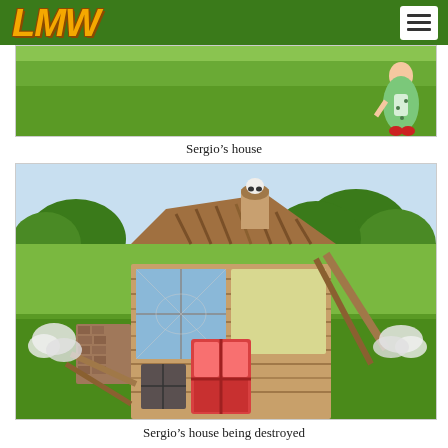LMW navigation header
[Figure (photo): Screenshot of a video showing a cartoon/illustrated house prop on a green grass field outdoors, with a cartoon female character figure visible on the right side wearing a green dress with red shoes]
Sergio’s house
[Figure (photo): Screenshot of a video showing a destroyed/collapsed cartoon/illustrated house prop on a green grass field outdoors, with wooden planks fallen and scattered, red door frame still partially standing, blue window visible, white cloud-like puffs of smoke or debris on either side]
Sergio’s house being destroyed